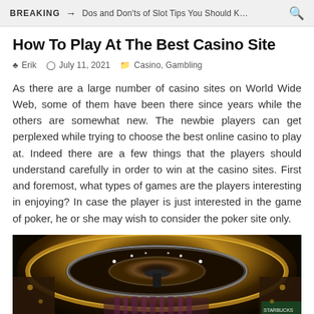BREAKING → Dos and Don'ts of Slot Tips You Should K…
How To Play At The Best Casino Site
♣ Erik  ⊙ July 11, 2021  ⬜ Casino, Gambling
As there are a large number of casino sites on World Wide Web, some of them have been there since years while the others are somewhat new. The newbie players can get perplexed while trying to choose the best online casino to play at. Indeed there are a few things that the players should understand carefully in order to win at the casino sites. First and foremost, what types of games are the players interesting in enjoying? In case the player is just interested in the game of poker, he or she may wish to consider the poker site only.
[Figure (photo): Interior of a luxury casino with golden circular ceiling architecture, ornate lighting, and decorative elements. A Starbucks Coffee sign is partially visible in the lower right corner.]